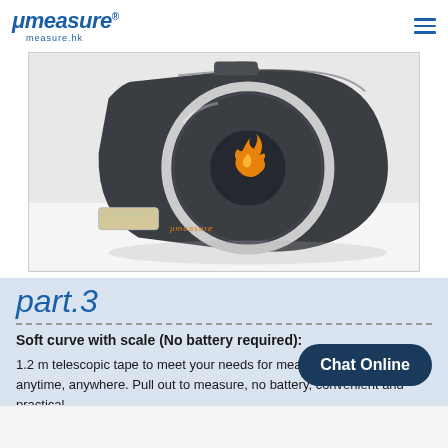μMeasure measure.hk
[Figure (photo): Close-up photo of a dark grey compact tape measure device (μMeasure brand) with a circular silver ring and orange/gold logo emblem in the center, shown against a white background.]
part.3
Soft curve with scale (No battery required):
1.2 m telescopic tape to meet your needs for measuring short distances anytime, anywhere. Pull out to measure, no battery, convenient and practical.